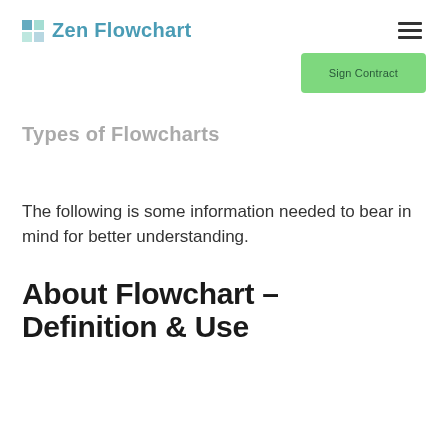Zen Flowchart
[Figure (other): Green 'Sign Contract' button]
Types of Flowcharts
The following is some information needed to bear in mind for better understanding.
About Flowchart – Definition & Use